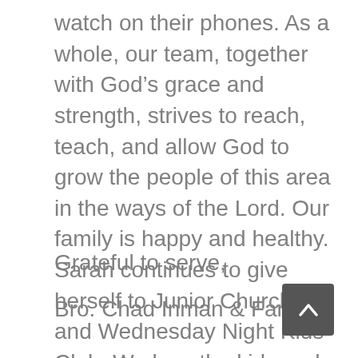watch on their phones. As a whole, our team, together with God's grace and strength, strives to reach, teach, and allow God to grow the people of this area in the ways of the Lord. Our family is happy and healthy. Sarah continues to give herself to Junior Church and Wednesday Night Kids' Club. We love the kids and want the best for them! May the Lord bless your November as we serve God together!
Grateful to serve,
Bro. Chad Inman & Family
[Figure (other): A dark grey rounded square button with an upward-pointing chevron arrow (scroll-to-top button)]